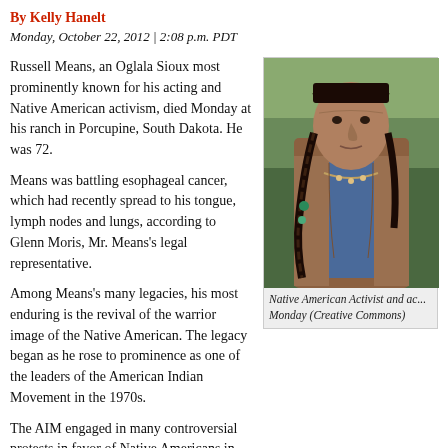By Kelly Hanelt
Monday, October 22, 2012 | 2:08 p.m. PDT
Russell Means, an Oglala Sioux most prominently known for his acting and Native American activism, died Monday at his ranch in Porcupine, South Dakota. He was 72.
Means was battling esophageal cancer, which had recently spread to his tongue, lymph nodes and lungs, according to Glenn Moris, Mr. Means's legal representative.
Among Means's many legacies, his most enduring is the revival of the warrior image of the Native American. The legacy began as he rose to prominence as one of the leaders of the American Indian Movement in the 1970s.
[Figure (photo): Portrait photo of Russell Means, a Native American man with braided black hair wearing a blue shirt and brown leather vest with beaded necklace, outdoors with green/natural background]
Native American Activist and ac... Monday (Creative Commons)
The AIM engaged in many controversial protests in favor of Native Americans in the 1970s, including an occupation of the U.S. Bureau of Indian Affairs headquarters in Washington in 1972, and a 71-day standoff with federal authorities at Wounded Knee on Pine Ridge in 1973.
Despite allegations of the AIM's use of violence during the Wounded Knee sta... numerous arrests and incarcerations, Means remained proud of the message of...